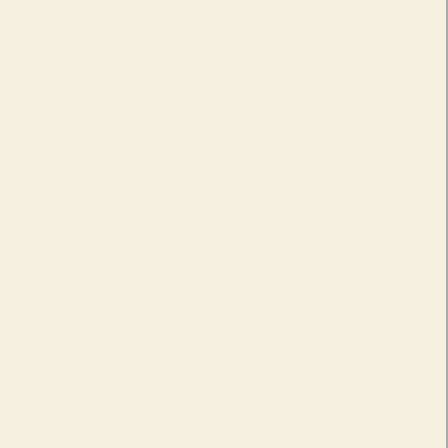gift. Or setting on a m... jew...
[Figure (photo): Bohemian beaded necklaces with tassels and pendants including turquoise and carved wooden elements, laid on sandy surface]
[Figure (photo): Close-up of multiple beaded mala necklaces with stone beads in brown, pink, and dark tones with feather or tassel pendants on sandy surface]